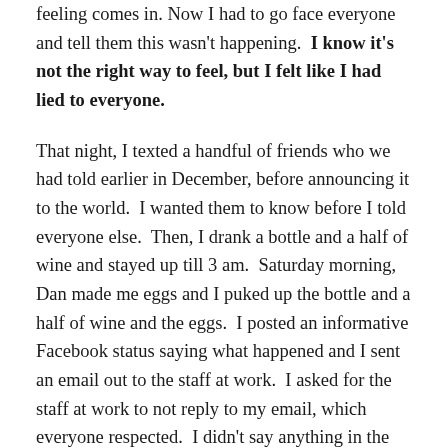feeling comes in. Now I had to go face everyone and tell them this wasn't happening.  I know it's not the right way to feel, but I felt like I had lied to everyone.
That night, I texted a handful of friends who we had told earlier in December, before announcing it to the world.  I wanted them to know before I told everyone else.  Then, I drank a bottle and a half of wine and stayed up till 3 am.  Saturday morning, Dan made me eggs and I puked up the bottle and a half of wine and the eggs.  I posted an informative Facebook status saying what happened and I sent an email out to the staff at work.  I asked for the staff at work to not reply to my email, which everyone respected.  I didn't say anything in the Facebook post, but I turned off notifications as I didn't want to keep getting notified that people commented.
I eventually looked at the comments.  Publicly, people